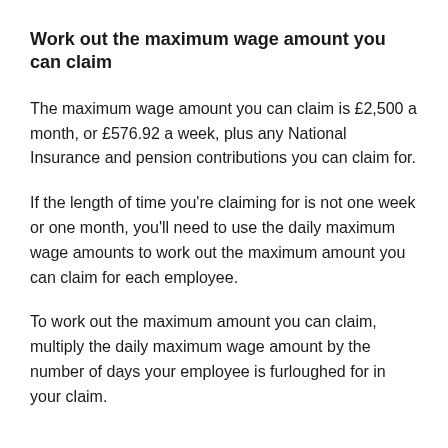Work out the maximum wage amount you can claim
The maximum wage amount you can claim is £2,500 a month, or £576.92 a week, plus any National Insurance and pension contributions you can claim for.
If the length of time you're claiming for is not one week or one month, you'll need to use the daily maximum wage amounts to work out the maximum amount you can claim for each employee.
To work out the maximum amount you can claim, multiply the daily maximum wage amount by the number of days your employee is furloughed for in your claim.